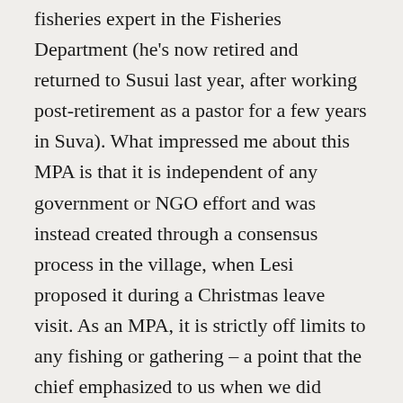fisheries expert in the Fisheries Department (he's now retired and returned to Susui last year, after working post-retirement as a pastor for a few years in Suva). What impressed me about this MPA is that it is independent of any government or NGO effort and was instead created through a consensus process in the village, when Lesi proposed it during a Christmas leave visit. As an MPA, it is strictly off limits to any fishing or gathering – a point that the chief emphasized to us when we did sevusevu last week.
After locating the giant clams and suggesting we snorkel them later, we all clambered aboard Anthea and enjoyed coffee, hot chocolate and biscuits. After a bit, we said good-bye for now, but not before making a plan for them to stop by Anthea at 3 this afternoon to take us to the turtle pond. I've heard of these turtle